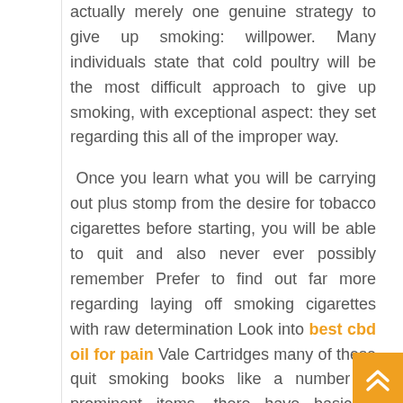actually merely one genuine strategy to give up smoking: willpower. Many individuals state that cold poultry will be the most difficult approach to give up smoking, with exceptional aspect: they set regarding this all of the improper way.
Once you learn what you will be carrying out plus stomp from the desire for tobacco cigarettes before starting, you will be able to quit and also never ever possibly remember Prefer to find out far more regarding laying off smoking cigarettes with raw determination Look into best cbd oil for pain Vale Cartridges many of these quit smoking books like a number of prominent items, there have basically been